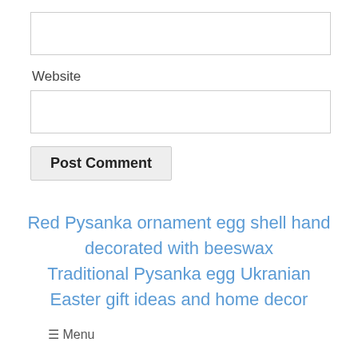[input box - top]
Website
[input box - website]
Post Comment
Red Pysanka ornament egg shell hand decorated with beeswax
Traditional Pysanka egg Ukranian Easter gift ideas and home decor
≡ Menu